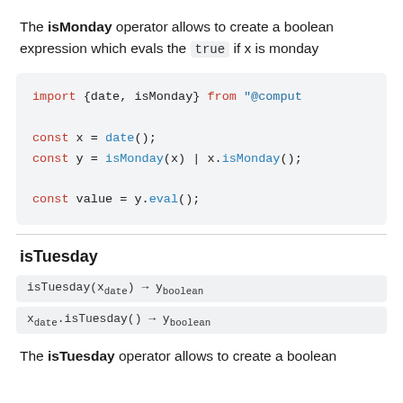The isMonday operator allows to create a boolean expression which evals the `true` if x is monday
[Figure (other): Code block showing: import {date, isMonday} from "@comput...

const x = date();
const y = isMonday(x) | x.isMonday();

const value = y.eval();]
isTuesday
isTuesday(x_date) → y_boolean
x_date.isTuesday() → y_boolean
The isTuesday operator allows to create a boolean